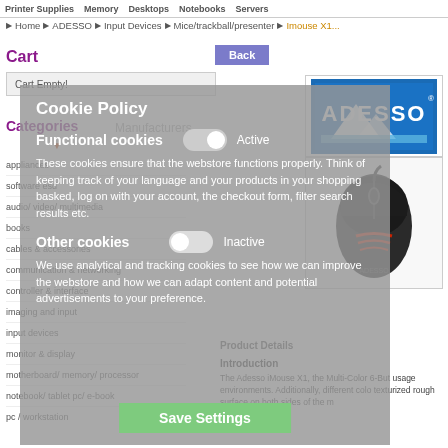Printer Supplies   Memory   Desktops   Notebooks   Servers
Home » ADESSO » Input Devices » Mice/trackball/presenter » Imouse X1...
Cart
Back
Cart Empty!
Categories
Manufacturers
appliances
software esd
audio/ video/ multimedia
books
cables & accessories
communication & networking
controller & interface
imaging and input
input devices
monitor & display
motherboard/ memory/ processor
notebook/ tablet pc/ e-book
[Figure (logo): Adesso logo - blue square with white ADESSO text and mountain graphic]
[Figure (photo): Adesso iMouse X1 gaming mouse - black with red LED accents]
Cookie Policy
Functional cookies
Active
These cookies ensure that the webstore functions properly. Think of keeping track of your language and your products in your shopping basked, log on with your account, the checkout form, filter search results etc.
Other cookies
Inactive
We use analytical and tracking cookies to see how we can improve the webstore and how we can adapt content and potential advertisements to your preference.
Save Settings
Product Details
Introduction
The Adesso iMouse X1, the Multi-Color 6-But usage environments. Additionally, different colo texturized rough surface on both sides of the m